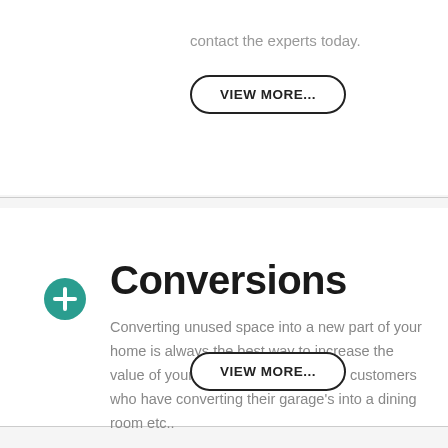contact the experts today.
VIEW MORE...
Conversions
Converting unused space into a new part of your home is always the best way to increase the value of your home. We have a lot of customers who have converting their garage's into a dining room etc..
VIEW MORE...